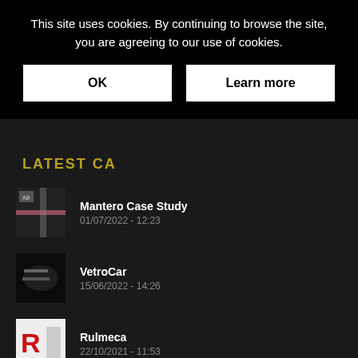This site uses cookies. By continuing to browse the site, you are agreeing to our use of cookies.
OK | Learn more
LATEST CA...
Mantero Case Study
01/07/2022 - 12:23
VetroCar
15/06/2022 - 14:26
Rulmeca
22/10/2021 - 11:53
Südwolle
05/05/2021 - 16:57
HYPE
29/04/2021 - 09:44